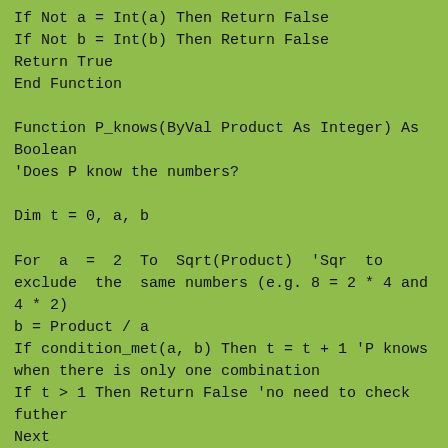If Not a = Int(a) Then Return False
If Not b = Int(b) Then Return False
Return True
End Function

Function P_knows(ByVal Product As Integer) As Boolean
'Does P know the numbers?

Dim t = 0, a, b

For a = 2 To Sqrt(Product) 'Sqr to exclude the same numbers (e.g. 8 = 2 * 4 and 4 * 2)
b = Product / a
If condition_met(a, b) Then t = t + 1 'P knows when there is only one combination
If t > 1 Then Return False 'no need to check futher
Next

Return t = 1


End Function

Function S_knows_that(ByVal Sum) As Boolean 'Does S...